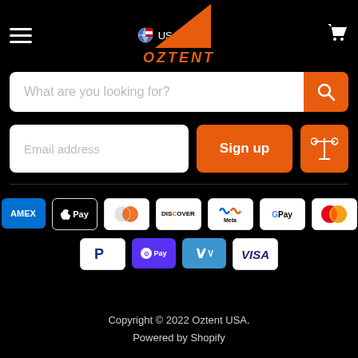[Figure (screenshot): Oztent USA e-commerce website header with hamburger menu, Oztent logo (orange triangle with OZTENT text), USA country selector, and shopping cart icon]
[Figure (screenshot): Search bar with placeholder text 'What are you looking for?' and orange search button]
[Figure (screenshot): Email address input field with Sign up button and legal/scale icon button]
[Figure (screenshot): Payment method icons: AMEX, Apple Pay, Diners Club, Discover, Meta Pay, Google Pay, Mastercard, PayPal, Shop Pay, Venmo, Visa]
Copyright © 2022 Oztent USA.
Powered by Shopify